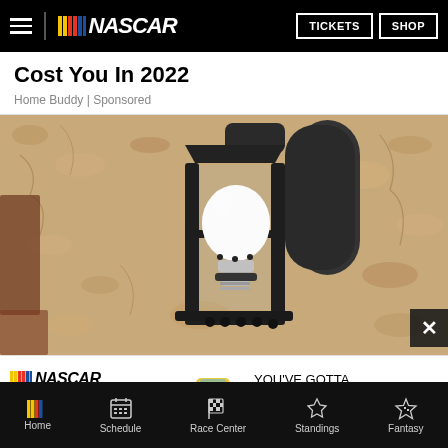NASCAR — TICKETS | SHOP
Cost You In 2022
Home Buddy | Sponsored
[Figure (photo): Close-up photo of a black metal outdoor lantern wall sconce with a white LED security camera bulb installed, mounted against a rough textured stucco wall.]
[Figure (advertisement): NASCAR advertisement banner: NASCAR logo with BUY TICKETS button, racing car graphic, and text YOU'VE GOTTA BE THERE!]
Home | Schedule | Race Center | Standings | Fantasy